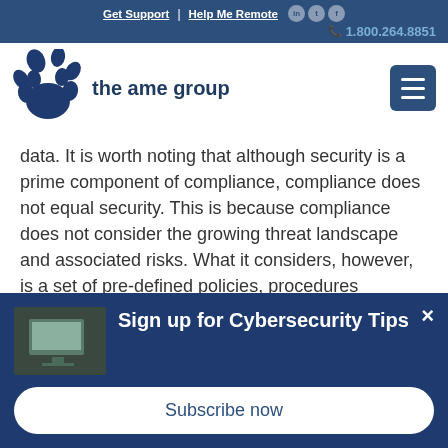Get Support | Help Me Remote | 1.800.264.8851
[Figure (logo): The AME Group logo with paw print icon and company name]
data. It is worth noting that although security is a prime component of compliance, compliance does not equal security. This is because compliance does not consider the growing threat landscape and associated risks. What it considers, however, is a set of pre-defined policies, procedures
Sign up for Cybersecurity Tips
Subscribe now